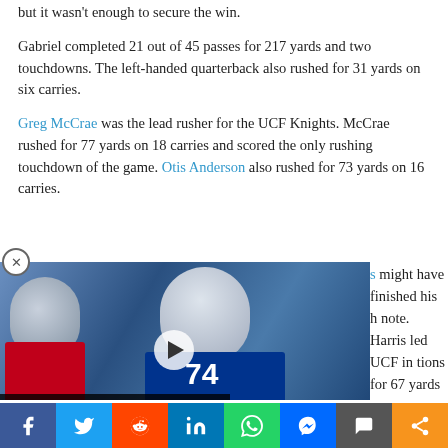but it wasn't enough to secure the win.
Gabriel completed 21 out of 45 passes for 217 yards and two touchdowns. The left-handed quarterback also rushed for 31 yards on six carries.
Greg McCrae was the lead rusher for the UCF Knights. McCrae rushed for 77 yards on 18 carries and scored the only rushing touchdown of the game. Otis Anderson also rushed for 73 yards on 16 carries.
[Figure (photo): NFL video thumbnail showing Buffalo Bills players including offensive lineman Cody Ford (jersey #74) with caption about Cardinals acquiring Ford in trade with Bills for a fifth-round pick in the 2023 NFL Draft.]
might have finished his note. Harris led UCF in tions for 67 yards and a son also had four catches He could have had another touchdown but Robinson dropped a wide-open
Facebook Twitter Reddit LinkedIn WhatsApp Messenger Comment Share